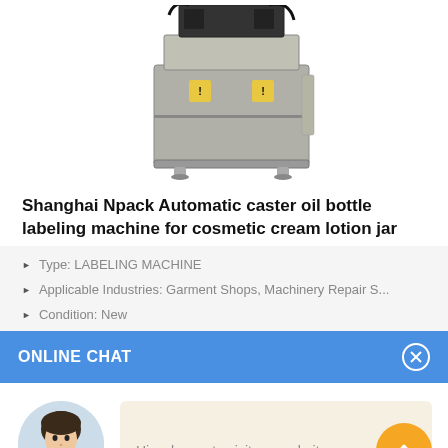[Figure (photo): Front view of a stainless steel automatic labeling machine with black tubing on top and yellow warning labels on the front panel]
Shanghai Npack Automatic caster oil bottle labeling machine for cosmetic cream lotion jar
Type: LABELING MACHINE
Applicable Industries: Garment Shops, Machinery Repair S...
Condition: New
ONLINE CHAT
[Figure (photo): Avatar photo of a young woman named Cilina in a light blue outfit, used as a chat representative]
Hi,welcome to visit our website.
Cilina